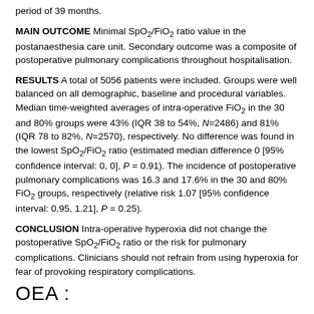period of 39 months.
MAIN OUTCOME Minimal SpO2/FiO2 ratio value in the postanaesthesia care unit. Secondary outcome was a composite of postoperative pulmonary complications throughout hospitalisation.
RESULTS A total of 5056 patients were included. Groups were well balanced on all demographic, baseline and procedural variables. Median time-weighted averages of intra-operative FiO2 in the 30 and 80% groups were 43% (IQR 38 to 54%, N=2486) and 81% (IQR 78 to 82%, N=2570), respectively. No difference was found in the lowest SpO2/FiO2 ratio (estimated median difference 0 [95% confidence interval: 0, 0], P = 0.91). The incidence of postoperative pulmonary complications was 16.3 and 17.6% in the 30 and 80% FiO2 groups, respectively (relative risk 1.07 [95% confidence interval: 0.95, 1.21], P = 0.25).
CONCLUSION Intra-operative hyperoxia did not change the postoperative SpO2/FiO2 ratio or the risk for pulmonary complications. Clinicians should not refrain from using hyperoxia for fear of provoking respiratory complications.
OEA :